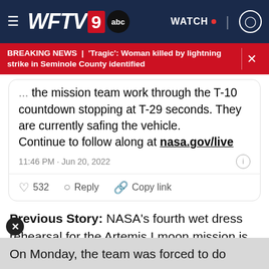WFTV 9 abc | WATCH | User icon
BREAKING NEWS | 'Tragic': Woman killed by lightning strike in Seminole County identified
the T-10 countdown stopping at T-29 seconds. They are currently safing the vehicle. Continue to follow along at nasa.gov/live
11:46 PM · Jun 20, 2022
532  Reply  Copy link
Previous Story: NASA's fourth wet dress rehearsal for the Artemis I moon mission is taking place, in preparation for the uncrewed flight test around the moon.
On Monday, the team was forced to do some